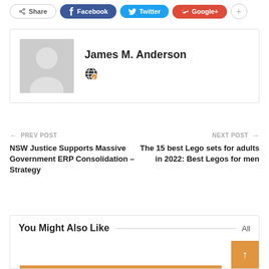[Figure (infographic): Share bar with Share, Facebook, Twitter, Google+, and + buttons]
[Figure (photo): Author card with placeholder avatar and name James M. Anderson with globe icon]
← PREV POST
NSW Justice Supports Massive Government ERP Consolidation – Strategy
NEXT POST →
The 15 best Lego sets for adults in 2022: Best Legos for men
You Might Also Like